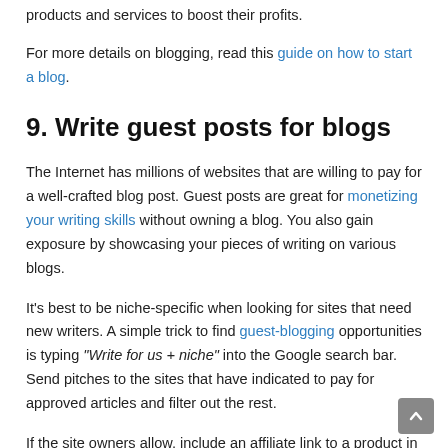products and services to boost their profits.
For more details on blogging, read this guide on how to start a blog.
9. Write guest posts for blogs
The Internet has millions of websites that are willing to pay for a well-crafted blog post. Guest posts are great for monetizing your writing skills without owning a blog. You also gain exposure by showcasing your pieces of writing on various blogs.
It's best to be niche-specific when looking for sites that need new writers. A simple trick to find guest-blogging opportunities is typing "Write for us + niche" into the Google search bar. Send pitches to the sites that have indicated to pay for approved articles and filter out the rest.
If the site owners allow, include an affiliate link to a product in